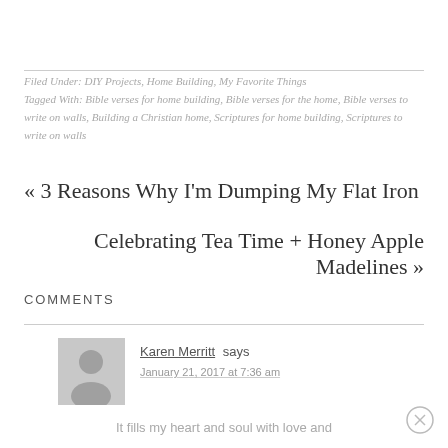Filed Under: DIY Projects, Home Building, My Favorite Things
Tagged With: Bible verses for home building, Bible verses for the home, Bible verses to write on walls, Building a Christian home, Scriptures for home building, Scriptures to write on walls
« 3 Reasons Why I'm Dumping My Flat Iron
Celebrating Tea Time + Honey Apple Madelines »
COMMENTS
Karen Merritt says
January 21, 2017 at 7:36 am
It fills my heart and soul with love and